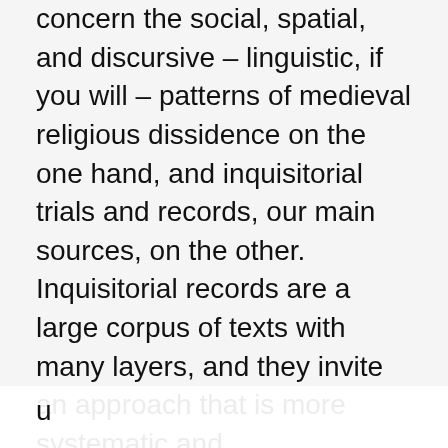concern the social, spatial, and discursive – linguistic, if you will – patterns of medieval religious dissidence on the one hand, and inquisitorial trials and records, our main sources, on the other. Inquisitorial records are a large corpus of texts with many layers, and they invite an approach that is more systematic and comprehensive than the traditional path of making notes on passages relevant to a particular topic under scrutiny. We plan to collect data into a database founded on a quite complex data model on which we have been working for at least the last two years. For particular research aims, we will then produce specific projections of data based on the kind of questions we are seeking to answer, and also, of course, on the kind of data that can be appropriately analyzed through the given method. For me, the question is not why we want to use analytical methods from outside history, but rather why such, let's say, computational interdisciplinary history has not already become a well-established part of the history of both religion and other aspects of human cultures. This u